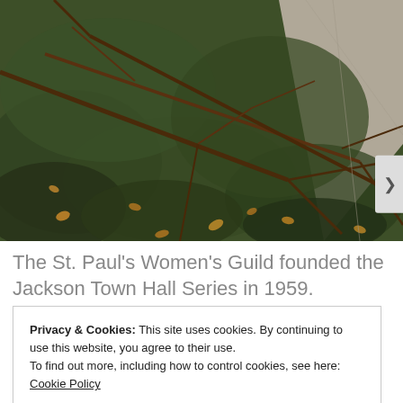[Figure (photo): Outdoor photo showing dense dark green shrubbery with bare brown tree branches extending across the greenery. Fallen brown leaves are scattered throughout. A concrete sidewalk is visible in the upper right corner. The scene appears to be in autumn or winter.]
The St. Paul's Women's Guild founded the Jackson Town Hall Series in 1959.
Privacy & Cookies: This site uses cookies. By continuing to use this website, you agree to their use.
To find out more, including how to control cookies, see here: Cookie Policy
Close and accept